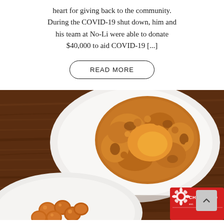heart for giving back to the community. During the COVID-19 shut down, him and his team at No-Li were able to donate $40,000 to aid COVID-19 [...]
READ MORE
[Figure (photo): Photo of fried chicken on a white plate on a wooden table, with another plate of fried food and a CHKN-N-MO branded card visible in the lower portion.]